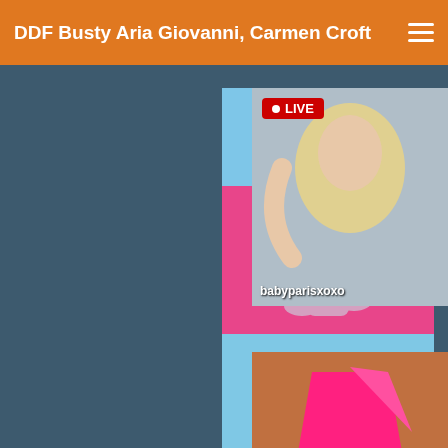DDF Busty Aria Giovanni, Carmen Croft
[Figure (photo): Gallery of fashion/model photos in a vertical column: polka dot dress on blue background, pink pose on pink background, school uniform outfit on blue/green background, woman in white jacket and purple bra on green background, illustrated figure on light background]
[Figure (photo): Live stream thumbnail showing blonde woman, labeled LIVE with username babyparisxoxo]
[Figure (photo): Pink/coral color thumbnail showing partial figure in pink bikini top]
sex toon pics free comedy m
Interracial sex scene fe
Busty pornstar Aleksa M
Long legged blonde tee
blonde teen Kate Englan
Becky R  Solo model Ra
18yo blonde Kaylana k